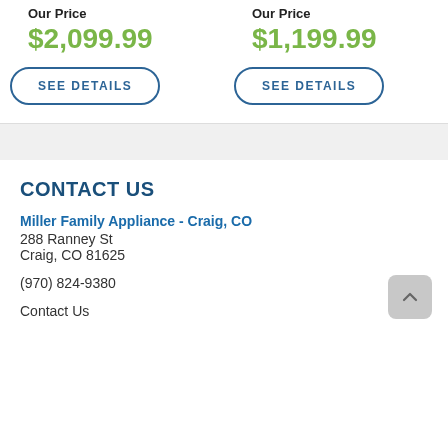Our Price
$2,099.99
SEE DETAILS
Our Price
$1,199.99
SEE DETAILS
CONTACT US
Miller Family Appliance - Craig, CO
288 Ranney St
Craig, CO 81625
(970) 824-9380
Contact Us